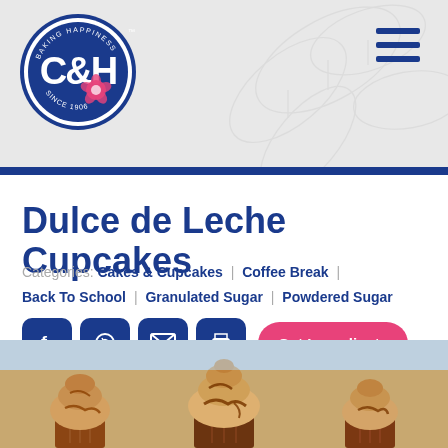[Figure (logo): C&H Sugar logo - circular blue badge with C&H text, 'Baking Happiness' text around top, 'Since 1906' at bottom, pink hibiscus flower]
Dulce de Leche Cupcakes
Categories: Cakes & Cupcakes | Coffee Break | Back To School | Granulated Sugar | Powdered Sugar
[Figure (infographic): Social sharing buttons: Facebook, Pinterest, Email, Print icons (dark blue rounded squares), and a pink 'Get Ingredients' button. 'Powered by Chicory' text below.]
[Figure (photo): Photo of dulce de leche cupcakes with caramel frosting and caramel drizzle on top, light blue background]